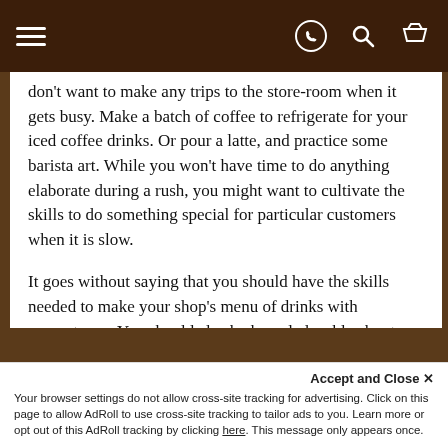Navigation bar with hamburger menu and icons
don't want to make any trips to the store-room when it gets busy. Make a batch of coffee to refrigerate for your iced coffee drinks. Or pour a latte, and practice some barista art. While you won't have time to do anything elaborate during a rush, you might want to cultivate the skills to do something special for particular customers when it is slow.
It goes without saying that you should have the skills needed to make your shop's menu of drinks with competence. You should also be knowledgeable about coffee, and about the differences between your drinks, and what the flavors and processes are. Be prepared to explain these things to your customers.
Accept and Close ✕
Your browser settings do not allow cross-site tracking for advertising. Click on this page to allow AdRoll to use cross-site tracking to tailor ads to you. Learn more or opt out of this AdRoll tracking by clicking here. This message only appears once.